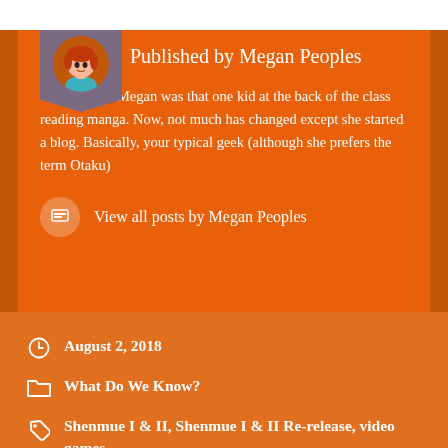Published by Megan Peoples
Growing up, Megan was that one kid at the back of the class reading manga. Now, not much has changed except she started a blog. Basically, your typical geek (although she prefers the term Otaku)
View all posts by Megan Peoples
August 2, 2018
What Do We Know?
Shenmue I & II, Shenmue I & II Re-release, video games